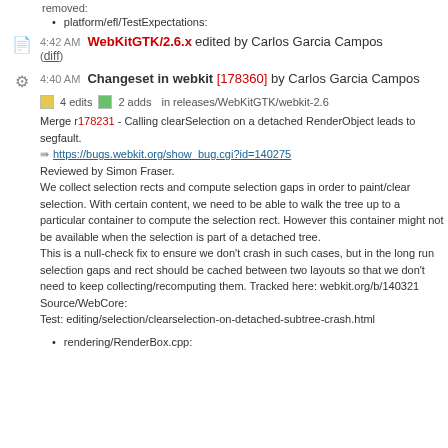removed:
platform/efl/TestExpectations:
4:42 AM WebKitGTK/2.6.x edited by Carlos Garcia Campos (diff)
4:40 AM Changeset in webkit [178360] by Carlos Garcia Campos
4 edits  2 adds  in releases/WebKitGTK/webkit-2.6
Merge r178231 - Calling clearSelection on a detached RenderObject leads to segfault.
https://bugs.webkit.org/show_bug.cgi?id=140275
Reviewed by Simon Fraser.
We collect selection rects and compute selection gaps in order to paint/clear selection. With certain content, we need to be able to walk the tree up to a particular container to compute the selection rect. However this container might not be available when the selection is part of a detached tree.
This is a null-check fix to ensure we don't crash in such cases, but in the long run selection gaps and rect should be cached between two layouts so that we don't need to keep collecting/recomputing them. Tracked here: webkit.org/b/140321
Source/WebCore:
Test: editing/selection/clearselection-on-detached-subtree-crash.html
rendering/RenderBox.cpp: